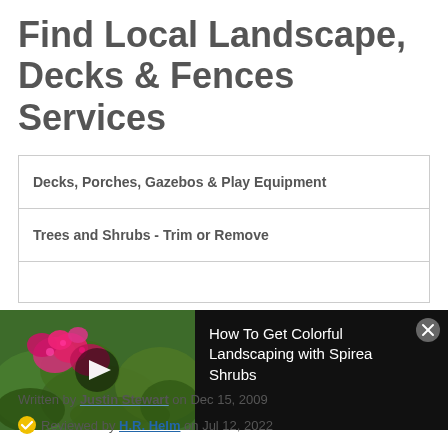Find Local Landscape, Decks & Fences Services
| Decks, Porches, Gazebos & Play Equipment |
| Trees and Shrubs - Trim or Remove |
[Figure (screenshot): Video banner with thumbnail of pink spirea shrubs and play button, title: How To Get Colorful Landscaping with Spirea Shrubs, on black background with close button]
Written by Justin Stewart on Dec 15, 2009
Reviewed by H.R. Helm on Jul 12, 2022